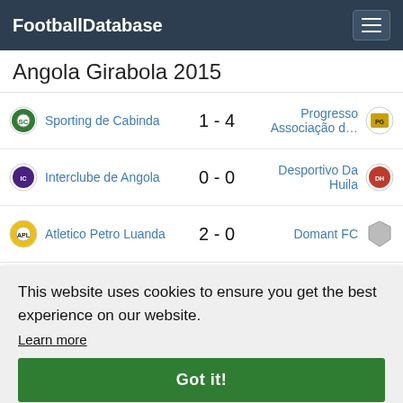FootballDatabase
Angola Girabola 2015
| Home Team | Score | Away Team |
| --- | --- | --- |
| Sporting de Cabinda | 1 - 4 | Progresso Associação d… |
| Interclube de Angola | 0 - 0 | Desportivo Da Huila |
| Atletico Petro Luanda | 2 - 0 | Domant FC |
| FC Bravos DO Maquis | 1 - 1 | Sagrada Esperança |
| (partial) |  | osto |
| (partial) |  | SCP |
| (partial) |  | s FC |
| Nakambala Leopards | 0 - 1 | Green Buffaloes |
This website uses cookies to ensure you get the best experience on our website.
Learn more
Got it!